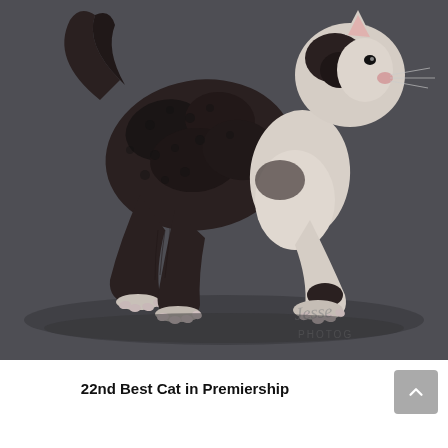[Figure (photo): A curly-haired cat (likely a Cornish Rex or similar breed) with dark and white coloring, photographed walking or posing against a dark gray studio background. The photo is taken from the side/rear showing the cat's legs, body, and head turned to the right. A watermark reading 'Jesse PHOTOG' is visible in the bottom right corner of the photo.]
22nd Best Cat in Premiership